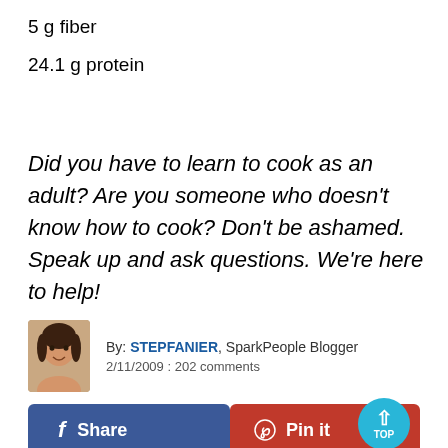5 g fiber
24.1 g protein
Did you have to learn to cook as an adult? Are you someone who doesn't know how to cook? Don't be ashamed. Speak up and ask questions. We're here to help!
By: STEPFANIER, SparkPeople Blogger
2/11/2009 : 202 comments
[Figure (other): Facebook Share button (blue) and Pinterest Pin it button (red), plus a circular blue TOP scroll button]